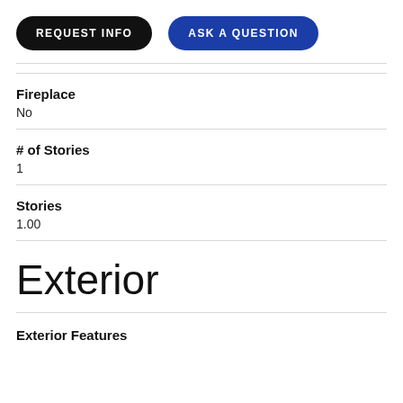REQUEST INFO | ASK A QUESTION
Fireplace
No
# of Stories
1
Stories
1.00
Exterior
Exterior Features